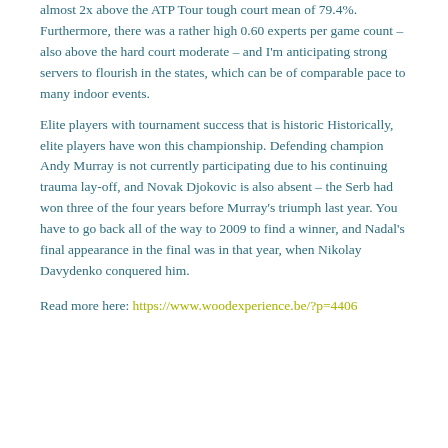almost 2x above the ATP Tour tough court mean of 79.4%. Furthermore, there was a rather high 0.60 experts per game count – also above the hard court moderate – and I'm anticipating strong servers to flourish in the states, which can be of comparable pace to many indoor events. Elite players with tournament success that is historic Historically, elite players have won this championship. Defending champion Andy Murray is not currently participating due to his continuing trauma lay-off, and Novak Djokovic is also absent – the Serb had won three of the four years before Murray's triumph last year. You have to go back all of the way to 2009 to find a winner, and Nadal's final appearance in the final was in that year, when Nikolay Davydenko conquered him.
Read more here: https://www.woodexperience.be/?p=4406